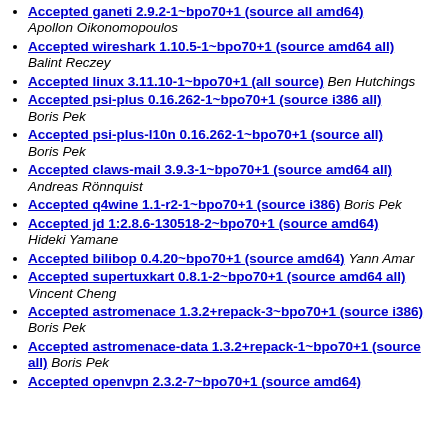Accepted ganeti 2.9.2-1~bpo70+1 (source all amd64) Apollon Oikonomopoulos
Accepted wireshark 1.10.5-1~bpo70+1 (source amd64 all) Balint Reczey
Accepted linux 3.11.10-1~bpo70+1 (all source) Ben Hutchings
Accepted psi-plus 0.16.262-1~bpo70+1 (source i386 all) Boris Pek
Accepted psi-plus-l10n 0.16.262-1~bpo70+1 (source all) Boris Pek
Accepted claws-mail 3.9.3-1~bpo70+1 (source amd64 all) Andreas Rönnquist
Accepted q4wine 1.1-r2-1~bpo70+1 (source i386) Boris Pek
Accepted jd 1:2.8.6-130518-2~bpo70+1 (source amd64) Hideki Yamane
Accepted bilibop 0.4.20~bpo70+1 (source amd64) Yann Amar
Accepted supertuxkart 0.8.1-2~bpo70+1 (source amd64 all) Vincent Cheng
Accepted astromenace 1.3.2+repack-3~bpo70+1 (source i386) Boris Pek
Accepted astromenace-data 1.3.2+repack-1~bpo70+1 (source all) Boris Pek
Accepted openvpn 2.3.2-7~bpo70+1 (source amd64)